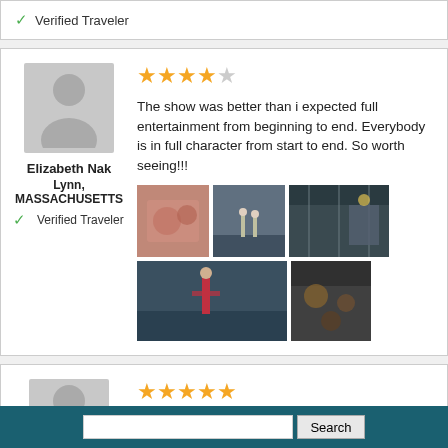✓ Verified Traveler
[Figure (photo): Avatar silhouette photo placeholder for Elizabeth Nak]
Elizabeth Nak
Lynn, MASSACHUSETTS
✓ Verified Traveler
★★★★☆ (4 out of 5 stars)
The show was better than i expected full entertainment from beginning to end. Everybody is in full character from start to end. So worth seeing!!!
[Figure (photo): 5 show photos in a grid: food/coral-colored item, performers on stage, stage rigging, performer on stage wide shot, stage lighting]
[Figure (photo): Avatar silhouette photo placeholder for Holly Osborne]
Holly Osborne
★★★★★ (5 out of 5 stars)
"Was a fun event."
Was a fun event. My 18 yr old son had a fun
Search